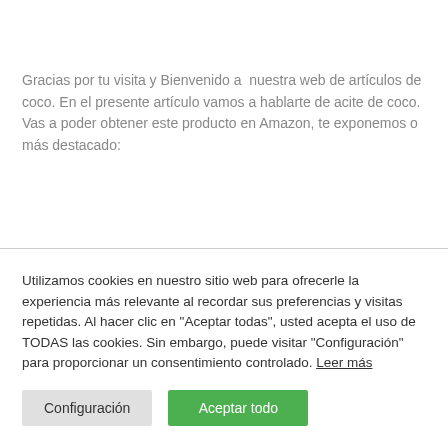Gracias por tu visita y Bienvenido a  nuestra web de artículos de coco. En el presente artículo vamos a hablarte de acite de coco. Vas a poder obtener este producto en Amazon, te exponemos o más destacado:
Utilizamos cookies en nuestro sitio web para ofrecerle la experiencia más relevante al recordar sus preferencias y visitas repetidas. Al hacer clic en "Aceptar todas", usted acepta el uso de TODAS las cookies. Sin embargo, puede visitar "Configuración" para proporcionar un consentimiento controlado. Leer más